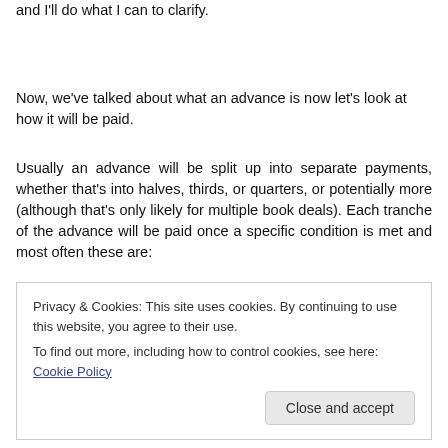and I'll do what I can to clarify.
Now, we've talked about what an advance is now let's look at how it will be paid.
Usually an advance will be split up into separate payments, whether that's into halves, thirds, or quarters, or potentially more (although that's only likely for multiple book deals). Each tranche of the advance will be paid once a specific condition is met and most often these are:
Privacy & Cookies: This site uses cookies. By continuing to use this website, you agree to their use.
To find out more, including how to control cookies, see here: Cookie Policy
Close and accept